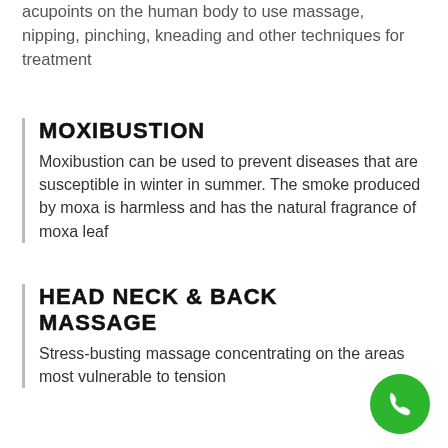acupoints on the human body to use massage, nipping, pinching, kneading and other techniques for treatment
MOXIBUSTION
Moxibustion can be used to prevent diseases that are susceptible in winter in summer. The smoke produced by moxa is harmless and has the natural fragrance of moxa leaf
HEAD NECK & BACK MASSAGE
Stress-busting massage concentrating on the areas most vulnerable to tension
[Figure (other): Green circular phone call button in the bottom right corner]